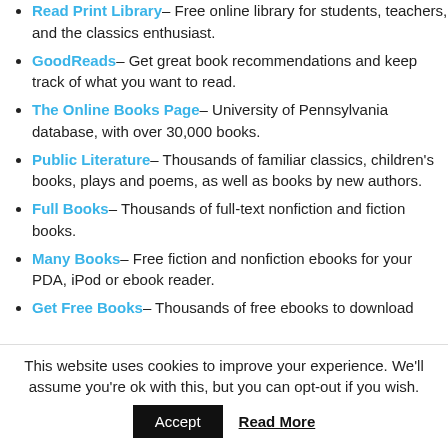Read Print Library – Free online library for students, teachers, and the classics enthusiast.
GoodReads – Get great book recommendations and keep track of what you want to read.
The Online Books Page – University of Pennsylvania database, with over 30,000 books.
Public Literature – Thousands of familiar classics, children's books, plays and poems, as well as books by new authors.
Full Books – Thousands of full-text nonfiction and fiction books.
Many Books – Free fiction and nonfiction ebooks for your PDA, iPod or ebook reader.
Get Free Books – Thousands of free ebooks to download
This website uses cookies to improve your experience. We'll assume you're ok with this, but you can opt-out if you wish.